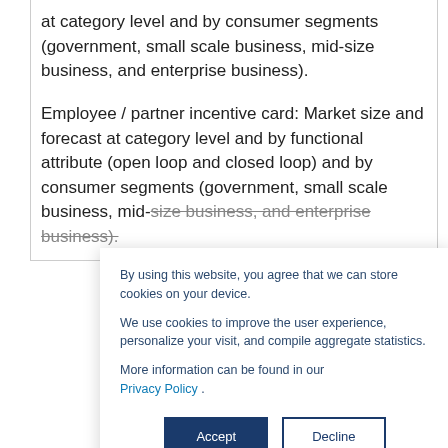at category level and by consumer segments (government, small scale business, mid-size business, and enterprise business).
Employee / partner incentive card: Market size and forecast at category level and by functional attribute (open loop and closed loop) and by consumer segments (government, small scale business, mid-size business, and enterprise business).
By using this website, you agree that we can store cookies on your device.
We use cookies to improve the user experience, personalize your visit, and compile aggregate statistics.
More information can be found in our Privacy Policy.